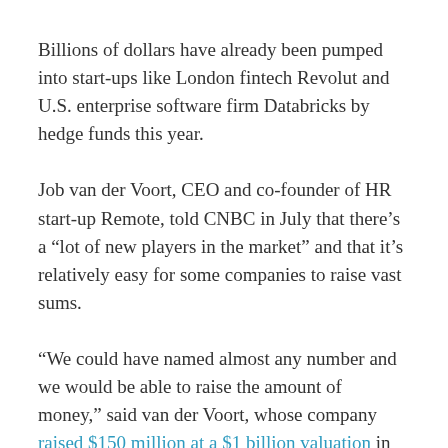Billions of dollars have already been pumped into start-ups like London fintech Revolut and U.S. enterprise software firm Databricks by hedge funds this year.
Job van der Voort, CEO and co-founder of HR start-up Remote, told CNBC in July that there’s a “lot of new players in the market” and that it’s relatively easy for some companies to raise vast sums.
“We could have named almost any number and we would be able to raise the amount of money,” said van der Voort, whose company raised $150 million at a $1 billion valuation in the summer.
“Previously, funding start-ups, especially early stage start-ups, was something that was exclusive to venture